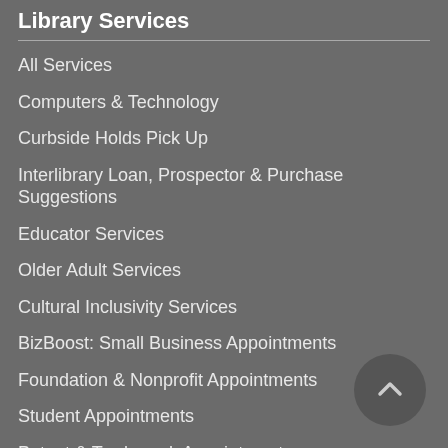Library Services
All Services
Computers & Technology
Curbside Holds Pick Up
Interlibrary Loan, Prospector & Purchase Suggestions
Educator Services
Older Adult Services
Cultural Inclusivity Services
BizBoost: Small Business Appointments
Foundation & Nonprofit Appointments
Student Appointments
Patent & Trademark Appointments
[Figure (other): Back to top button — circular arrow icon]